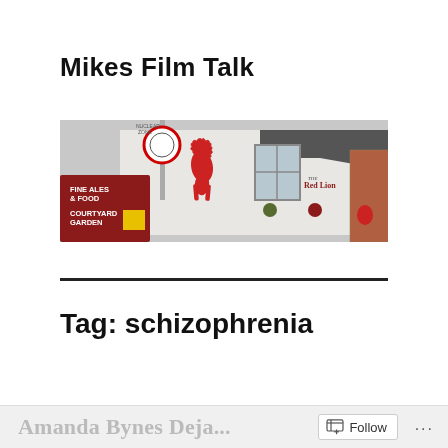Mikes Film Talk
[Figure (photo): Exterior photo of The Red Lion pub showing a white building with a red lion heraldic emblem painted on the wall, pub signage for Fine Ales & Food, Courtyard Garden, and a road sign visible on the left. Red brick buildings visible on the right.]
Tag: schizophrenia
Amanda Bynes Deja...  Follow ...